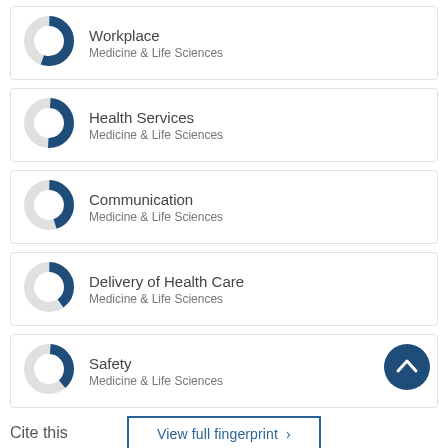[Figure (donut-chart): Donut chart for Workplace, approximately 55% filled dark blue]
[Figure (donut-chart): Donut chart for Health Services, approximately 50% filled dark blue]
[Figure (donut-chart): Donut chart for Communication, approximately 45% filled dark blue]
[Figure (donut-chart): Donut chart for Delivery of Health Care, approximately 40% filled dark blue]
[Figure (donut-chart): Donut chart for Safety, approximately 38% filled dark blue]
View full fingerprint >
Cite this